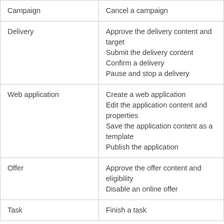| Campaign | Cancel a campaign |
| Delivery | Approve the delivery content and target
Submit the delivery content
Confirm a delivery
Pause and stop a delivery |
| Web application | Create a web application
Edit the application content and properties
Save the application content as a template
Publish the application |
| Offer | Approve the offer content and eligibility
Disable an online offer |
| Task | Finish a task |